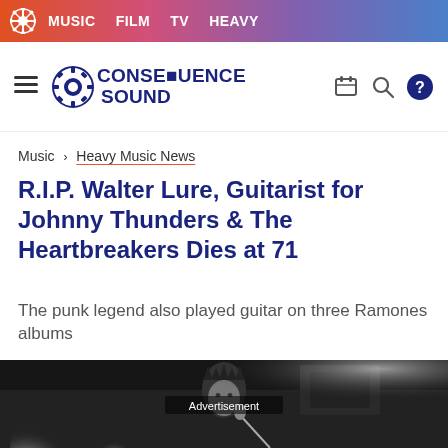MUSIC  FILM  TV  HEAVY
[Figure (logo): Consequence Sound logo with gear icon, hamburger menu, and navigation icons]
Music > Heavy Music News
R.I.P. Walter Lure, Guitarist for Johnny Thunders & The Heartbreakers Dies at 71
The punk legend also played guitar on three Ramones albums
[Figure (photo): Black and white photo of a man with spiky hair performing on stage with a microphone, with stage lights visible. Advertisement text overlay in center.]